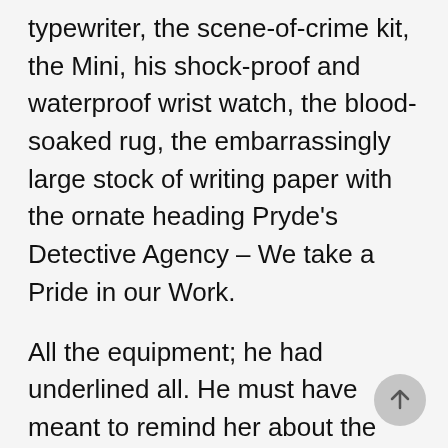typewriter, the scene-of-crime kit, the Mini, his shock-proof and waterproof wrist watch, the blood-soaked rug, the embarrassingly large stock of writing paper with the ornate heading Pryde's Detective Agency – We take a Pride in our Work.
All the equipment; he had underlined all. He must have meant to remind her about the gun.
She unlocked the small drawer at the base of Bernie's desk to which only she and he had a key and drew it out. It was still in the suede draw-string bag which she had made for it, with three rounds of ammunition packed separately. It was a